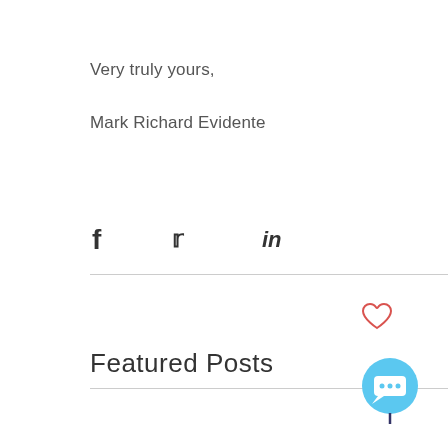Very truly yours,
Mark Richard Evidente
[Figure (infographic): Social sharing icons: Facebook (f), Twitter (bird), LinkedIn (in)]
[Figure (infographic): Heart (like) icon in red/outline style]
Featured Posts
[Figure (infographic): Chat bubble button icon in light blue circle]